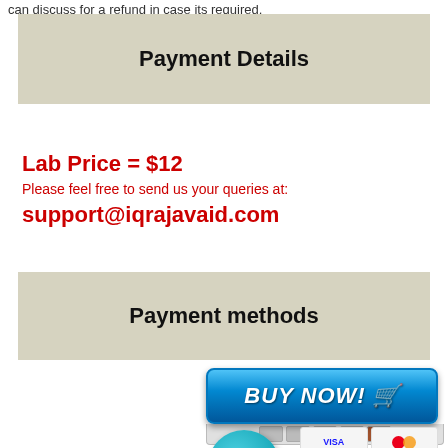can discuss for a refund in case its required.
Payment Details
Lab Price = $12
Please feel free to send us your queries at:
support@iqrajavaid.com
Payment methods
[Figure (other): BUY NOW button with shopping cart icon and payment card strip below it, followed by 2CO circle logo and a grid of payment method icons including VISA, Mastercard, American Express, PayPal, Diners Club, JCB, Discover, and Debit Card, plus a shopping cart illustration.]